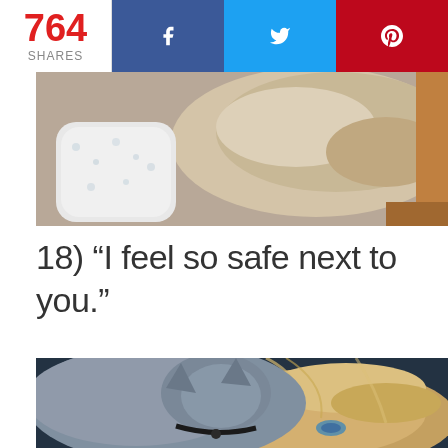764 SHARES | f | y | p
[Figure (photo): A cat lying next to a baby in patterned onesie on a couch]
18) “I feel so safe next to you.”
[Figure (photo): A cat nuzzling the head of a young blonde child]